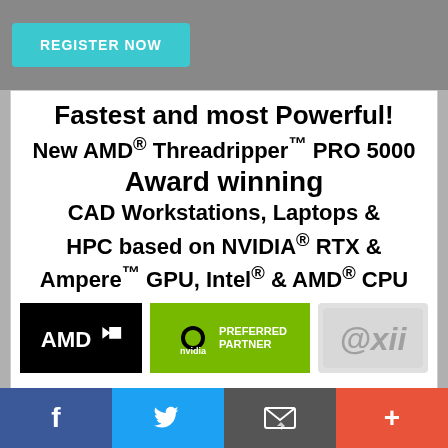[Figure (screenshot): Top banner area with a teal/cyan 'REGISTER NOW' button on a grey background]
[Figure (infographic): Advertisement for AMD Threadripper PRO 5000 CAD Workstations. Text: 'Fastest and most Powerful! New AMD® Threadripper™ PRO 5000 Award winning CAD Workstations, Laptops & HPC based on NVIDIA® RTX & Ampere™ GPU, Intel® & AMD® CPU'. Logos: AMD, NVIDIA Preferred Partner, @XII]
[Figure (infographic): Social media sharing bar with Facebook, Twitter, email, and plus icons]